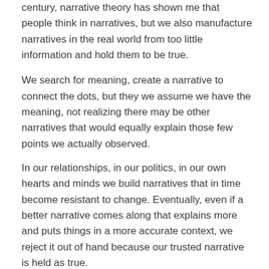century, narrative theory has shown me that people think in narratives, but we also manufacture narratives in the real world from too little information and hold them to be true.
We search for meaning, create a narrative to connect the dots, but they we assume we have the meaning, not realizing there may be other narratives that would equally explain those few points we actually observed.
In our relationships, in our politics, in our own hearts and minds we build narratives that in time become resistant to change. Eventually, even if a better narrative comes along that explains more and puts things in a more accurate context, we reject it out of hand because our trusted narrative is held as true.
And so we are convinced our enemy means us harm, that our internal angsts cannot be resolved, that our associates are insensitive or up to no good.